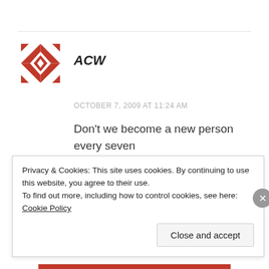[Figure (logo): Red geometric snowflake/star pattern avatar for user ACW]
ACW
OCTOBER 7, 2009 AT 11:24 AM
Don't we become a new person every seven years? You're right on target.
REPLY
Privacy & Cookies: This site uses cookies. By continuing to use this website, you agree to their use.
To find out more, including how to control cookies, see here: Cookie Policy
Close and accept